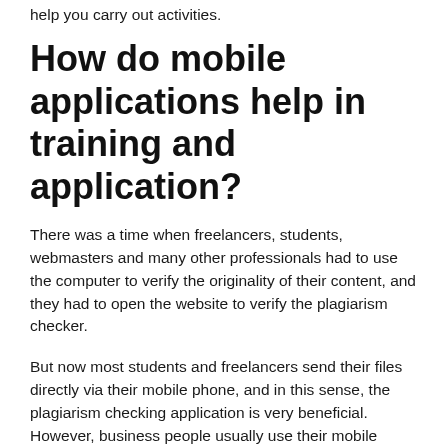help you carry out activities.
How do mobile applications help in training and application?
There was a time when freelancers, students, webmasters and many other professionals had to use the computer to verify the originality of their content, and they had to open the website to verify the plagiarism checker.
But now most students and freelancers send their files directly via their mobile phone, and in this sense, the plagiarism checking application is very beneficial. However, business people usually use their mobile